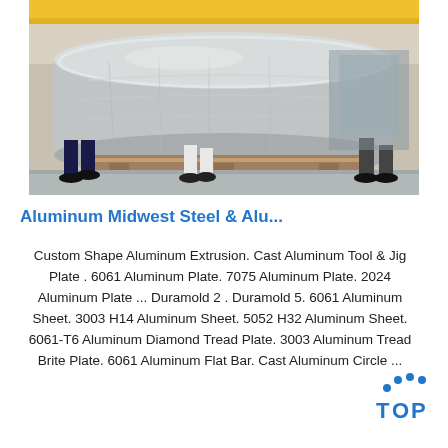[Figure (photo): Workers handling a large wrapped aluminum roll/coil on a pallet inside an industrial warehouse with yellow overhead cranes]
Aluminum Midwest Steel & Alu...
Custom Shape Aluminum Extrusion. Cast Aluminum Tool & Jig Plate . 6061 Aluminum Plate. 7075 Aluminum Plate. 2024 Aluminum Plate ... Duramold 2 . Duramold 5. 6061 Aluminum Sheet. 3003 H14 Aluminum Sheet. 5052 H32 Aluminum Sheet. 6061-T6 Aluminum Diamond Tread Plate. 3003 Aluminum Tread Brite Plate. 6061 Aluminum Flat Bar. Cast Aluminum Circle ...
[Figure (logo): TOP logo with blue dotted arc above the text TOP in blue letters]